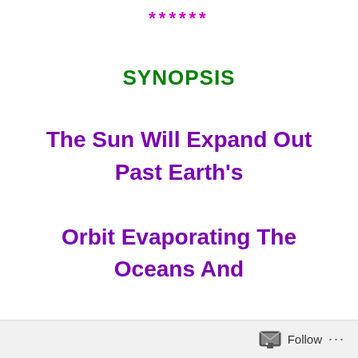******
SYNOPSIS
The Sun Will Expand Out Past Earth's Orbit Evaporating The Oceans And Incinerating Our Beautiful Garden Home To A Black Burned Out Cinder.
Follow ...